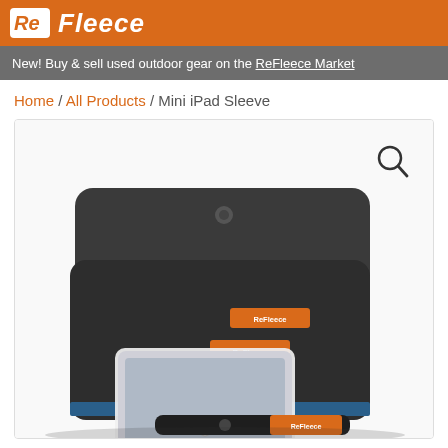[Figure (logo): ReFleece logo with white icon on orange background bar]
New! Buy & sell used outdoor gear on the ReFleece Market
Home / All Products / Mini iPad Sleeve
[Figure (photo): Product photo of two dark charcoal felt Mini iPad Sleeves with orange branded labels and blue interior, one showing an iPad mini being inserted]